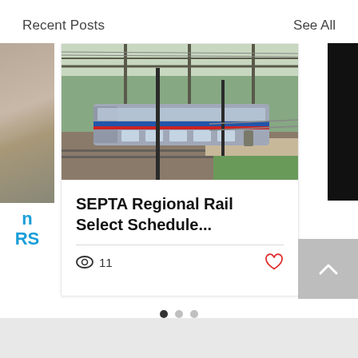Recent Posts
See All
[Figure (photo): SEPTA regional rail train at a station platform with overhead infrastructure and green trees in background]
SEPTA Regional Rail Select Schedule...
11